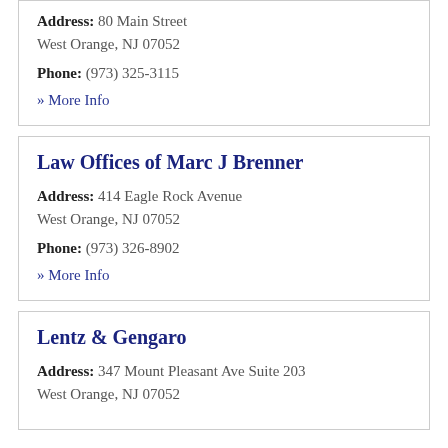Address: 80 Main Street
West Orange, NJ 07052
Phone: (973) 325-3115
» More Info
Law Offices of Marc J Brenner
Address: 414 Eagle Rock Avenue
West Orange, NJ 07052
Phone: (973) 326-8902
» More Info
Lentz & Gengaro
Address: 347 Mount Pleasant Ave Suite 203
West Orange, NJ 07052